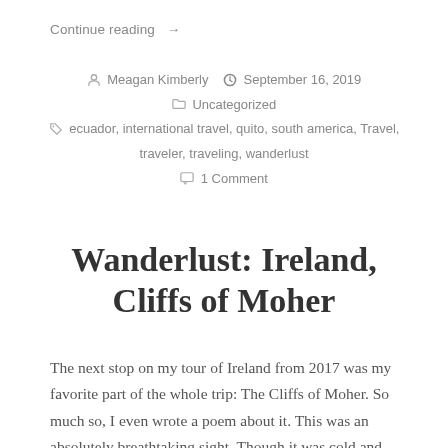Continue reading →
Meagan Kimberly  September 16, 2019  Uncategorized  ecuador, international travel, quito, south america, Travel, traveler, traveling, wanderlust  1 Comment
Wanderlust: Ireland, Cliffs of Moher
The next stop on my tour of Ireland from 2017 was my favorite part of the whole trip: The Cliffs of Moher. So much so, I even wrote a poem about it. This was an absolutely breathtaking sight. Though it was cold and